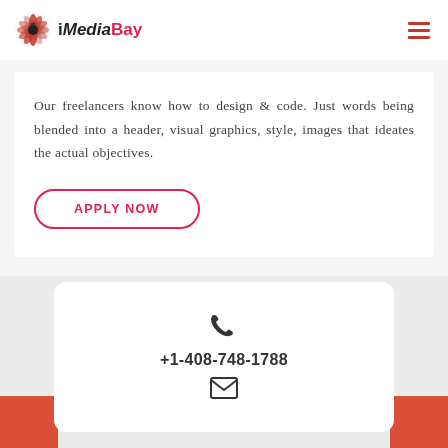iMediaBay
Our freelancers know how to design & code. Just words being blended into a header, visual graphics, style, images that ideates the actual objectives.
APPLY NOW
+1-408-748-1788